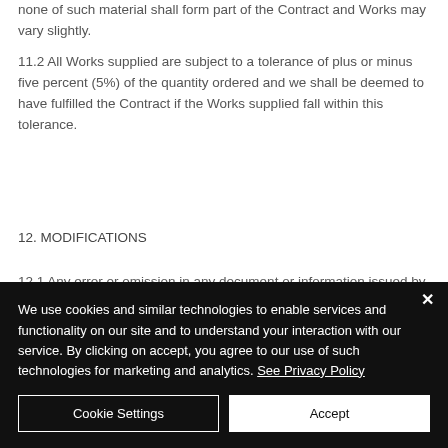none of such material shall form part of the Contract and Works may vary slightly.
11.2 All Works supplied are subject to a tolerance of plus or minus five percent (5%) of the quantity ordered and we shall be deemed to have fulfilled the Contract if the Works supplied fall within this tolerance.
12. MODIFICATIONS
12.1 Any error or omission in any document or information issued by us, including (without limitation) any display or pricing information,
We use cookies and similar technologies to enable services and functionality on our site and to understand your interaction with our service. By clicking on accept, you agree to our use of such technologies for marketing and analytics. See Privacy Policy
Cookie Settings
Accept